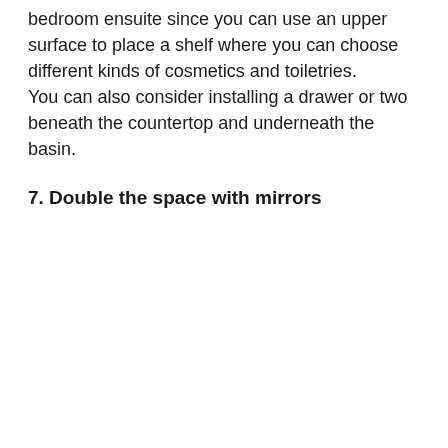bedroom ensuite since you can use an upper surface to place a shelf where you can choose different kinds of cosmetics and toiletries. You can also consider installing a drawer or two beneath the countertop and underneath the basin.
7. Double the space with mirrors